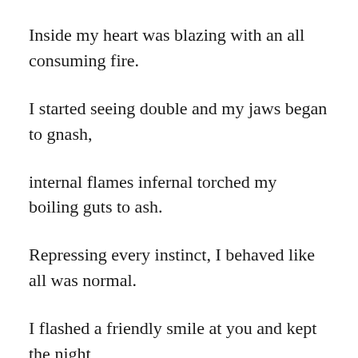Inside my heart was blazing with an all consuming fire.
I started seeing double and my jaws began to gnash,
internal flames infernal torched my boiling guts to ash.
Repressing every instinct, I behaved like all was normal.
I flashed a friendly smile at you and kept the night